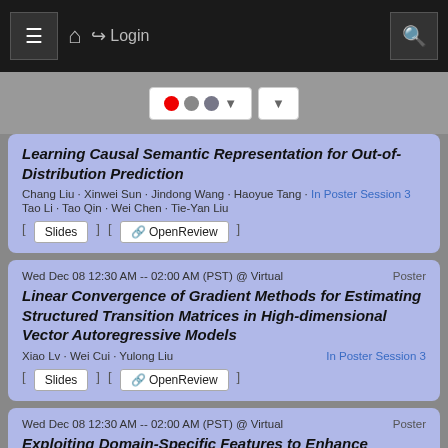Navigation bar with menu, home, login, search
[Figure (screenshot): Toolbar with Flickr-style colored dot logo button and dropdown]
Learning Causal Semantic Representation for Out-of-Distribution Prediction
Chang Liu · Xinwei Sun · Jindong Wang · Haoyue Tang · In Poster Session 3
Tao Li · Tao Qin · Wei Chen · Tie-Yan Liu
[ Slides ] [ OpenReview ]
Wed Dec 08 12:30 AM -- 02:00 AM (PST) @ Virtual	Poster
Linear Convergence of Gradient Methods for Estimating Structured Transition Matrices in High-dimensional Vector Autoregressive Models
Xiao Lv · Wei Cui · Yulong Liu	In Poster Session 3
[ Slides ] [ OpenReview ]
Wed Dec 08 12:30 AM -- 02:00 AM (PST) @ Virtual	Poster
Exploiting Domain-Specific Features to Enhance Domain Generalization
Manh-Ha Bui · Toan Tran · Anh Tran · Dinh Phung	In Poster Session 3
[ Slides ] [ OpenReview ]